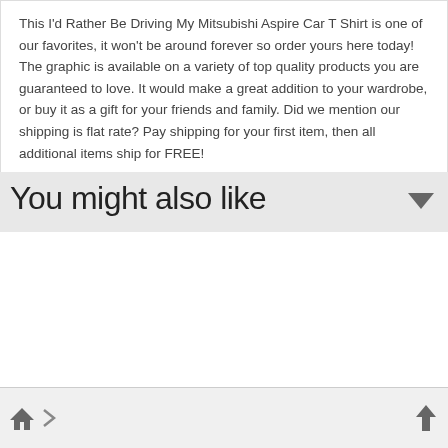This I'd Rather Be Driving My Mitsubishi Aspire Car T Shirt is one of our favorites, it won't be around forever so order yours here today! The graphic is available on a variety of top quality products you are guaranteed to love. It would make a great addition to your wardrobe, or buy it as a gift for your friends and family. Did we mention our shipping is flat rate? Pay shipping for your first item, then all additional items ship for FREE!
You might also like
home > | up arrow